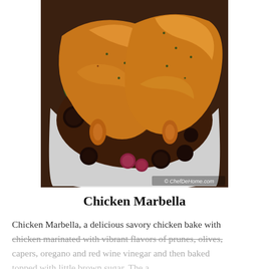[Figure (photo): Overhead close-up photo of Chicken Marbella in a white braising dish — golden-brown roasted chicken pieces surrounded by dark prunes, olives, and grapes in a rich dark sauce, garnished with capers and fresh herbs. Watermark reads '© ChefDeHome.com'.]
Chicken Marbella
Chicken Marbella, a delicious savory chicken bake with chicken marinated with vibrant flavors of prunes, olives, capers, oregano and red wine vinegar and then baked topped with little brown sugar. The a...